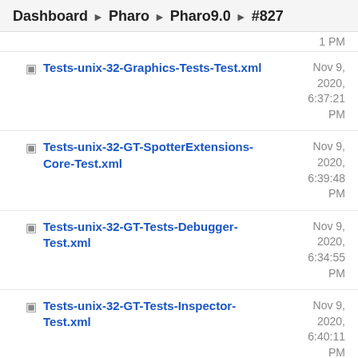Dashboard ▶ Pharo ▶ Pharo9.0 ▶ #827
1 PM
Tests-unix-32-Graphics-Tests-Test.xml — Nov 9, 2020, 6:37:21 PM
Tests-unix-32-GT-SpotterExtensions-Core-Test.xml — Nov 9, 2020, 6:39:48 PM
Tests-unix-32-GT-Tests-Debugger-Test.xml — Nov 9, 2020, 6:34:55 PM
Tests-unix-32-GT-Tests-Inspector-Test.xml — Nov 9, 2020, 6:40:11 PM
Tests-unix-32-GT-Tests-Playground-Test.xml — Nov 9, 2020, 6:39:29